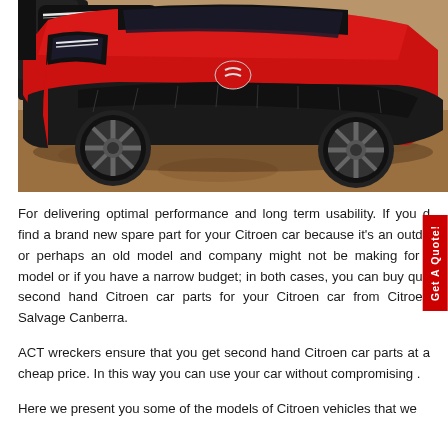[Figure (photo): A red Citroen car photographed from the front-left angle on a gravel/dirt surface. The car features distinctive styling with black plastic bodywork accents and alloy wheels.]
For delivering optimal performance and long term usability. If you d find a brand new spare part for your Citroen car because it's an outda or perhaps an old model and company might not be making for t model or if you have a narrow budget; in both cases, you can buy qua second hand Citroen car parts for your Citroen car from Citroen Salvage Canberra.
ACT wreckers ensure that you get second hand Citroen car parts at a cheap price. In this way you can use your car without compromising .
Here we present you some of the models of Citroen vehicles that we